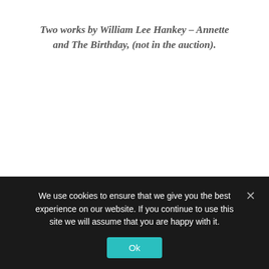Two works by William Lee Hankey – Annette and The Birthday, (not in the auction).
[Lot 3]: Louis Barth by William Orpen – Whyte's
We use cookies to ensure that we give you the best experience on our website. If you continue to use this site we will assume that you are happy with it.